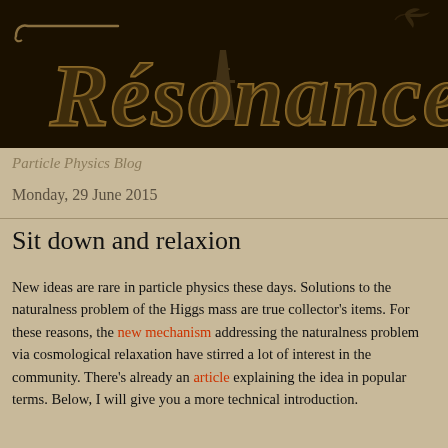[Figure (illustration): Resonances particle physics blog header banner with stylized decorative text 'Résonances' in gold/tan on black background, with Eiffel Tower silhouette incorporated in the letters and a bird silhouette at the top right]
Particle Physics Blog
Monday, 29 June 2015
Sit down and relaxion
New ideas are rare in particle physics these days. Solutions to the naturalness problem of the Higgs mass are true collector's items. For these reasons, the new mechanism addressing the naturalness problem via cosmological relaxation have stirred a lot of interest in the community. There's already an article explaining the idea in popular terms. Below, I will give you a more technical introduction.